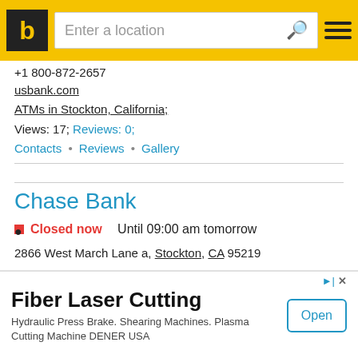b | Enter a location [search icon] [menu icon]
+1 800-872-2657
usbank.com
ATMs in Stockton, California;
Views: 17; Reviews: 0;
Contacts • Reviews • Gallery
Chase Bank
● Closed now   Until 09:00 am tomorrow
2866 West March Lane a, Stockton, CA 95219
+1 209-475-9024
locator.chase.com
ATMs in Stockton, California;
n Stockton, California;
Fiber Laser Cutting
Hydraulic Press Brake. Shearing Machines. Plasma Cutting Machine DENER USA
Open